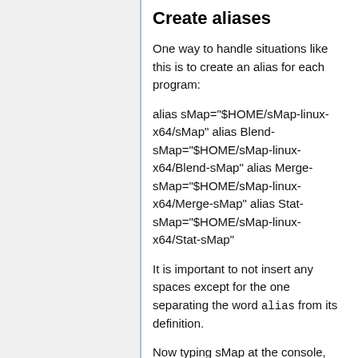Create aliases
One way to handle situations like this is to create an alias for each program:
alias sMap="$HOME/sMap-linux-x64/sMap" alias Blend-sMap="$HOME/sMap-linux-x64/Blend-sMap" alias Merge-sMap="$HOME/sMap-linux-x64/Merge-sMap" alias Stat-sMap="$HOME/sMap-linux-x64/Stat-sMap"
It is important to not insert any spaces except for the one separating the word alias from its definition.
Now typing sMap at the console, whereever you are, will invoke the program (try it!). You can see any aliases you've defined by typing alias at the command prompt.